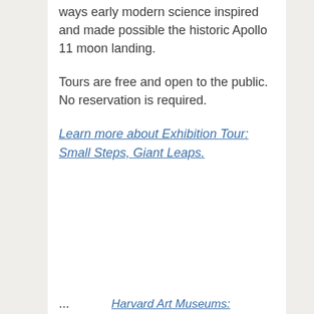ways early modern science inspired and made possible the historic Apollo 11 moon landing.
Tours are free and open to the public. No reservation is required.
Learn more about Exhibition Tour: Small Steps, Giant Leaps.
... Harvard Art Museums: